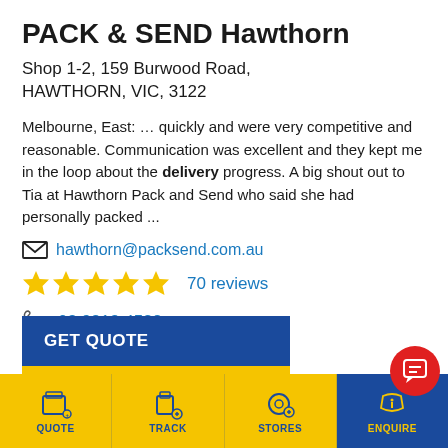PACK & SEND Hawthorn
Shop 1-2, 159 Burwood Road, HAWTHORN, VIC, 3122
Melbourne, East: … quickly and were very competitive and reasonable. Communication was excellent and they kept me in the loop about the delivery progress. A big shout out to Tia at Hawthorn Pack and Send who said she had personally packed ...
hawthorn@packsend.com.au
70 reviews
03 9813 4522
GET QUOTE
VIEW DETAILS
QUOTE | TRACK | STORES | ENQUIRE